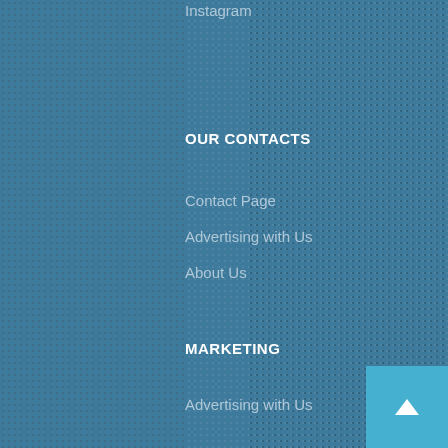Instagram
OUR CONTACTS
Contact Page
Advertising with Us
About Us
MARKETING
Advertising with Us
Website Design
Social Media Marketing
PARTNERS
The Denver Post
Become a Partner